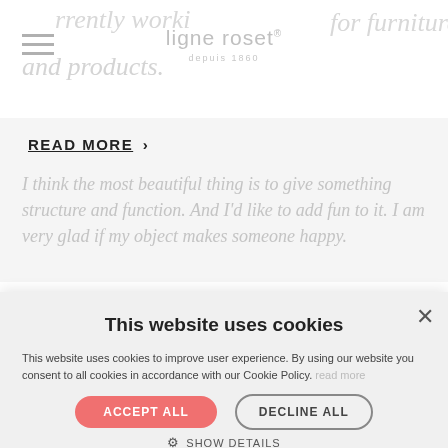ligne roset depuis 1860
currently working for furniture and products.
READ MORE >
I think the most beautiful thing is to give something structure and function. And I'd like to add fun to it. I am very glad if my object makes someone happy.
This website uses cookies
This website uses cookies to improve user experience. By using our website you consent to all cookies in accordance with our Cookie Policy.
ACCEPT ALL
DECLINE ALL
SHOW DETAILS